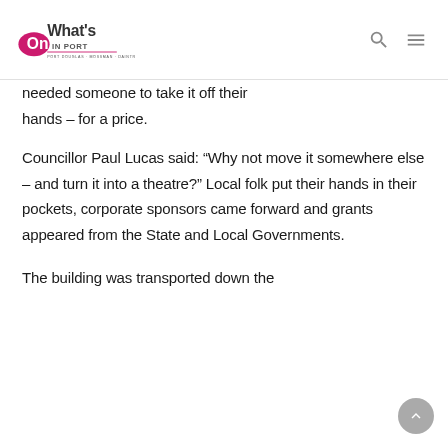What's On In Port – Port Douglas · Mossman · Daintree
needed someone to take it off their hands – for a price.
Councillor Paul Lucas said: “Why not move it somewhere else – and turn it into a theatre?” Local folk put their hands in their pockets, corporate sponsors came forward and grants appeared from the State and Local Governments.
The building was transported down the